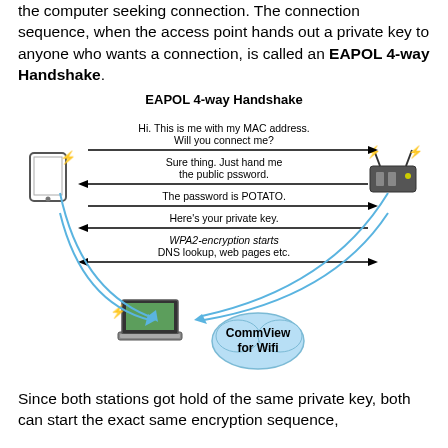the computer seeking connection. The connection sequence, when the access point hands out a private key to anyone who wants a connection, is called an EAPOL 4-way Handshake.
[Figure (infographic): EAPOL 4-way Handshake diagram showing message exchange between a tablet (left), a router (right), and a laptop with CommView for Wifi (bottom). Messages: 1) Hi. This is me with my MAC address. Will you connect me? (right arrow) 2) Sure thing. Just hand me the public pssword. (left arrow) 3) The password is POTATO. (right arrow) 4) Here's your private key. (left arrow) 5) WPA2-encryption starts / DNS lookup, web pages etc. (both arrows). Blue curving arrows from tablet and router to laptop. Red lightning bolts on tablet, router, and laptop.]
Since both stations got hold of the same private key, both can start the exact same encryption sequence,